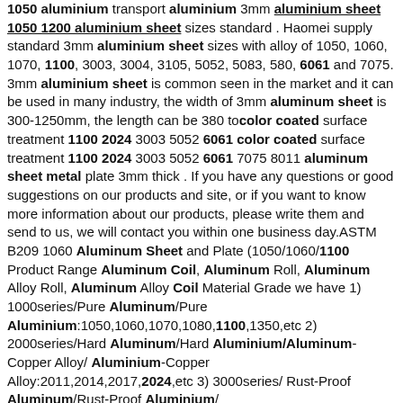aluminium sheet sizes standard . Haomei supply standard 3mm aluminium sheet sizes with alloy of 1050, 1060, 1070, 1100, 3003, 3004, 3105, 5052, 5083, 580, 6061 and 7075. 3mm aluminium sheet is common seen in the market and it can be used in many industry, the width of 3mm aluminum sheet is 300-1250mm, the length can be 380 to color coated surface treatment 1100 2024 3003 5052 6061 color coated surface treatment 1100 2024 3003 5052 6061 7075 8011 aluminum sheet metal plate 3mm thick . If you have any questions or good suggestions on our products and site, or if you want to know more information about our products, please write them and send to us, we will contact you within one business day.ASTM B209 1060 Aluminum Sheet and Plate (1050/1060/1100 Product Range Aluminum Coil, Aluminum Roll, Aluminum Alloy Roll, Aluminum Alloy Coil Material Grade we have 1) 1000series/Pure Aluminum/Pure Aluminium:1050,1060,1070,1080,1100,1350,etc 2) 2000series/Hard Aluminum/Hard Aluminium/Aluminum-Copper Alloy/Aluminium-Copper Alloy:2011,2014,2017,2024,etc 3) 3000series/ Rust-Proof Aluminum/Rust-Proof Aluminium/
Anodized Aluminum Sheet 1050 1060 1100 3003 5083 6061
Henan Yongsheng Aluminum Co., Ltd. is located in Gongyi City Industrial Cluster Area,Henan Province.The factory focuses on the production of aluminum products such as Aluminum Strip,Color Aluminum Coil/Sheet, Aluminum Sheet, Aluminum Coil,Embossed Aluminum Coil/Sheet, Mirror Aluminum Coil/Sheet.The factory covers an area of 100,000 squareAnodized